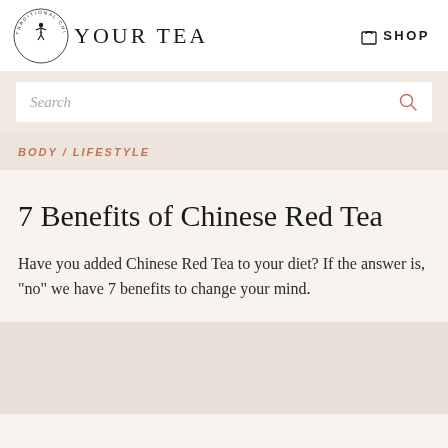[Figure (logo): Your Tea logo with circular badge reading 'Traditional Chinese Restoratives' and a figure icon, alongside the text 'YOUR TEA']
SHOP
[Figure (screenshot): Search bar with placeholder text 'Search' and a search icon on the right]
BODY / LIFESTYLE
7 Benefits of Chinese Red Tea
Have you added Chinese Red Tea to your diet? If the answer is, "no" we have 7 benefits to change your mind.